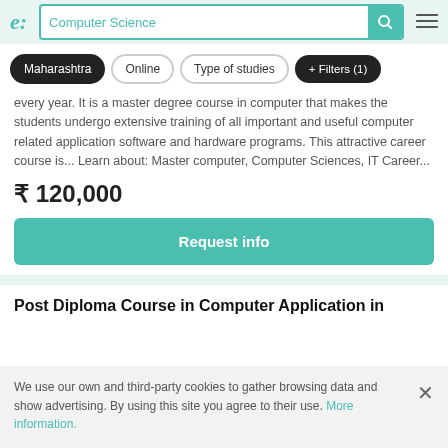e: Computer Science [search bar with search icon and hamburger menu]
Maharashtra
Online
Type of studies
+ Filters (1)
every year. It is a master degree course in computer that makes the students undergo extensive training of all important and useful computer related application software and hardware programs. This attractive career course is... Learn about: Master computer, Computer Sciences, IT Career...
₹ 120,000
Request info
Post Diploma Course in Computer Application in
We use our own and third-party cookies to gather browsing data and show advertising. By using this site you agree to their use. More information.